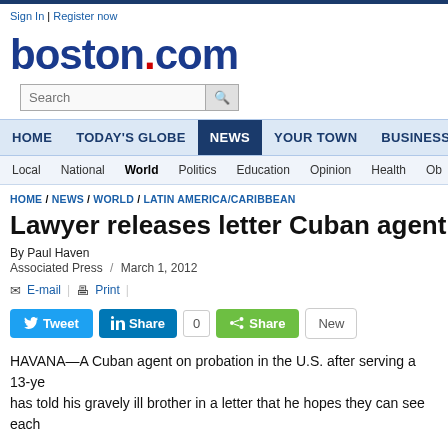Sign In | Register now
[Figure (logo): boston.com logo with red dot]
HOME / TODAY'S GLOBE / NEWS / YOUR TOWN / BUSINESS / SPOR...
Local / National / World / Politics / Education / Opinion / Health / Ob...
HOME / NEWS / WORLD / LATIN AMERICA/CARIBBEAN
Lawyer releases letter Cuban agent sent to
By Paul Haven
Associated Press / March 1, 2012
E-mail | Print |
Tweet | Share 0 | Share | New
HAVANA—A Cuban agent on probation in the U.S. after serving a 13-ye... has told his gravely ill brother in a letter that he hopes they can see each...